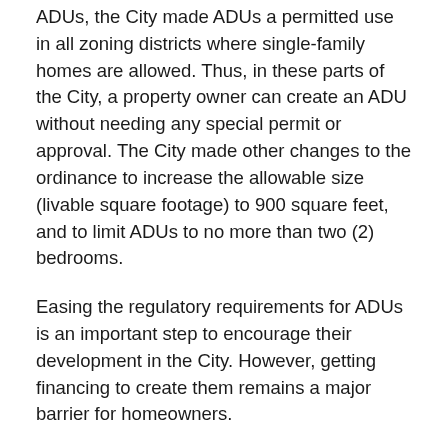ADUs, the City made ADUs a permitted use in all zoning districts where single-family homes are allowed. Thus, in these parts of the City, a property owner can create an ADU without needing any special permit or approval. The City made other changes to the ordinance to increase the allowable size (livable square footage) to 900 square feet, and to limit ADUs to no more than two (2) bedrooms.
Easing the regulatory requirements for ADUs is an important step to encourage their development in the City. However, getting financing to create them remains a major barrier for homeowners.
The City's Backyard Homes Project will help address that problem by offering direct loans to City home owners interested in developing ADUs. The Backyard Homes Project makes $400,000 available for loans in